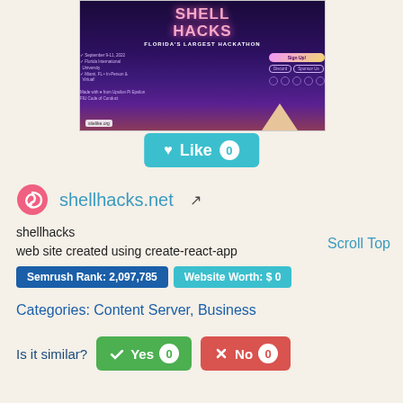[Figure (screenshot): Screenshot of shellhacks.net website showing 'Shell Hacks - Florida's Largest Hackathon' with purple/dark background, sign up button, Discord and Sponsor Us buttons, and social media icons. Watermark: sitelike.org]
Like 0
shellhacks.net
shellhacks
web site created using create-react-app
Scroll Top
Semrush Rank: 2,097,785
Website Worth: $ 0
Categories: Content Server, Business
Is it similar?
Yes 0
No 0